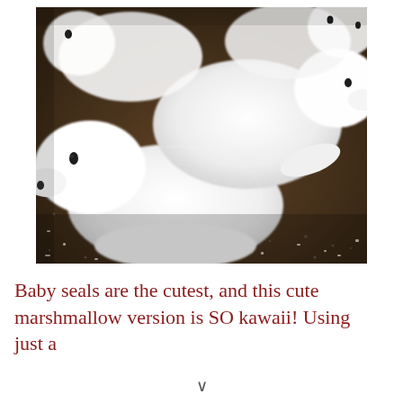[Figure (photo): Close-up photograph of multiple white baby seal-shaped marshmallows with small black dot eyes and noses, piled on a dark brown granite or stone surface. The marshmallows are textured, white and fluffy, shaped like cute baby seals.]
Baby seals are the cutest, and this cute marshmallow version is SO kawaii! Using just a